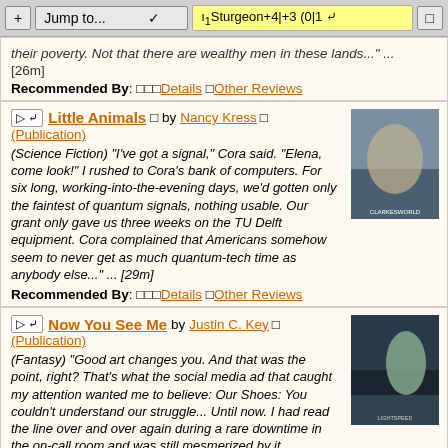+ Jump to... | ı1Sturgeon+4|+3 (0|1 ∨) | □
their poverty. Not that there are wealthy men in these lands..." ... [26m]
Recommended By: □□□Details □Other Reviews
Little Animals □ by Nancy Kress □ (Publication)
(Science Fiction) "I've got a signal," Cora said. "Elena, come look!" I rushed to Cora's bank of computers. For six long, working-into-the-evening days, we'd gotten only the faintest of quantum signals, nothing usable. Our grant only gave us three weeks on the TU Delft equipment. Cora complained that Americans somehow seem to never get as much quantum-tech time as anybody else..." ... [29m]
Recommended By: □□□Details □Other Reviews
Now You See Me by Justin C. Key □ (Publication)
(Fantasy) "Good art changes you. And that was the point, right? That's what the social media ad that caught my attention wanted me to believe: Our Shoes: You couldn't understand our struggle... Until now. I had read the line over and over again during a rare downtime in the on-call room and was still mesmerized by it